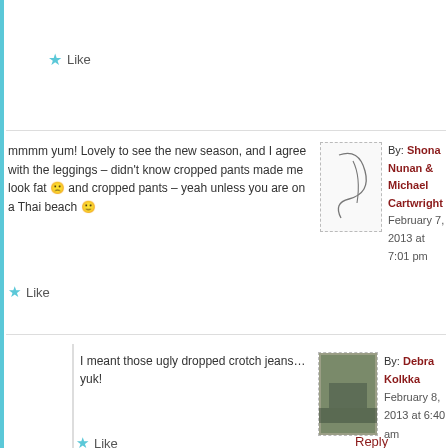Like
mmmm yum! Lovely to see the new season, and I agree with the leggings – didn't know cropped pants made me look fat 🙁 and cropped pants – yeah unless you are on a Thai beach 🙂
By: Shona Nunan & Michael Cartwright February 7, 2013 at 7:01 pm
Like
Reply
I meant those ugly dropped crotch jeans…yuk!
By: Debra Kolkka February 8, 2013 at 6:40 am
Like
Reply
WOW!!! What a great window-shopping experience. Thank you! And those 2 real women are pretty fabulous too!!
By: jann on February 2013 at 7:02 pm
Like
Reply